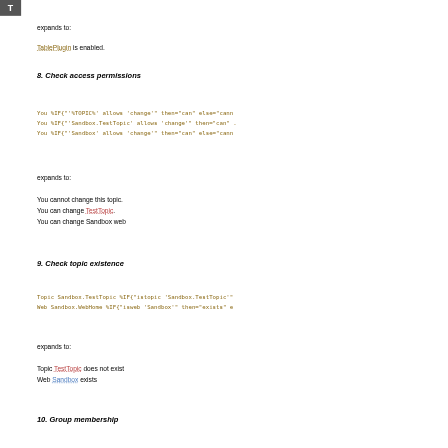[Figure (logo): Gray square icon with white letter T]
expands to:
TablePlugin is enabled.
8. Check access permissions
You %IF{"'%TOPIC%' allows 'change'" then="can" else="cann
You %IF{"'Sandbox.TestTopic' allows 'change'" then="can" .
You %IF{"'Sandbox' allows 'change'" then="can" else="cann
expands to:
You cannot change this topic.
You can change TestTopic.
You can change Sandbox web
9. Check topic existence
Topic Sandbox.TestTopic %IF{"istopic 'Sandbox.TestTopic'"
Web Sandbox.WebHome %IF{"isweb 'Sandbox'" then="exists" e
expands to:
Topic TestTopic does not exist
Web Sandbox exists
10. Group membership